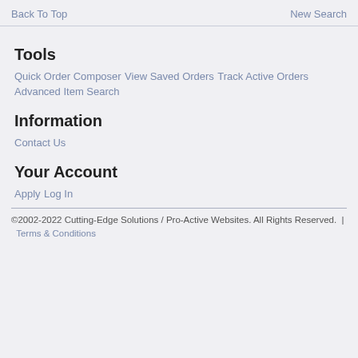Back To Top
New Search
Tools
Quick Order Composer
View Saved Orders
Track Active Orders
Advanced Item Search
Information
Contact Us
Your Account
Apply
Log In
©2002-2022 Cutting-Edge Solutions / Pro-Active Websites. All Rights Reserved.  |  Terms & Conditions